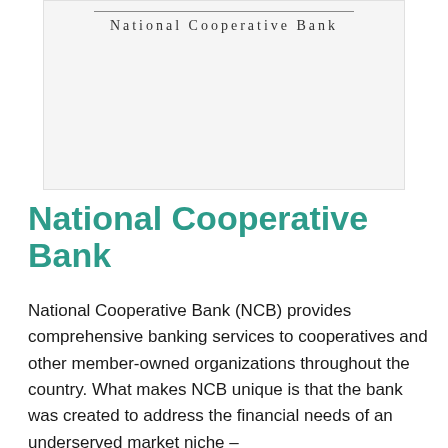[Figure (logo): National Cooperative Bank logo — horizontal rule above text reading 'National Cooperative Bank' in spaced serif font]
National Cooperative Bank
National Cooperative Bank (NCB) provides comprehensive banking services to cooperatives and other member-owned organizations throughout the country. What makes NCB unique is that the bank was created to address the financial needs of an underserved market niche –